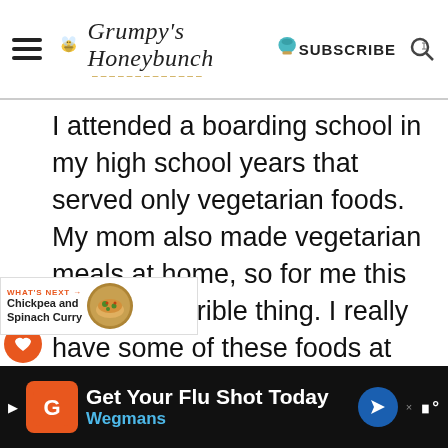Grumpy's Honeybunch — SUBSCRIBE
I attended a boarding school in my high school years that served only vegetarian foods. My mom also made vegetarian meals at home, so for me this wasn't a horrible thing. I really have some of these foods at times. Since last evening Grumpy wasn't particularly in the mood for anything I decided to make these Chickpea and
[Figure (other): What's Next promo box with food image: Chickpea and Spinach Curry]
[Figure (other): Advertisement banner: Get Your Flu Shot Today — Wegmans]